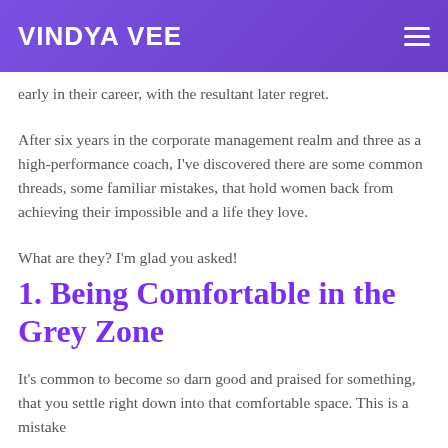VINDYA VEE
early in their career, with the resultant later regret.
After six years in the corporate management realm and three as a high-performance coach, I've discovered there are some common threads, some familiar mistakes, that hold women back from achieving their impossible and a life they love.
What are they? I'm glad you asked!
1. Being Comfortable in the Grey Zone
It's common to become so darn good and praised for something, that you settle right down into that comfortable space. This is a mistake